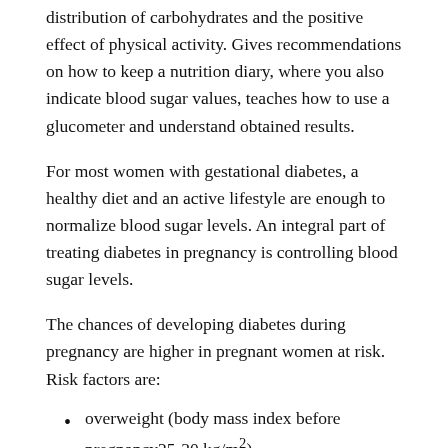distribution of carbohydrates and the positive effect of physical activity. Gives recommendations on how to keep a nutrition diary, where you also indicate blood sugar values, teaches how to use a glucometer and understand obtained results.
For most women with gestational diabetes, a healthy diet and an active lifestyle are enough to normalize blood sugar levels. An integral part of treating diabetes in pregnancy is controlling blood sugar levels.
The chances of developing diabetes during pregnancy are higher in pregnant women at risk. Risk factors are:
overweight (body mass index before pregnancy25-30 kg/m²)
pregnant women with a history of gestational diabetes during previous pregnancy
pregnant women whose first-degree relatives (mother